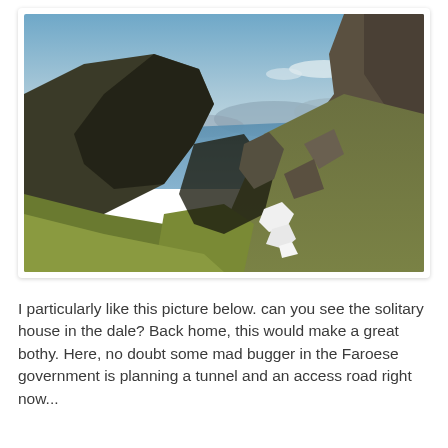[Figure (photo): Landscape photograph of rugged highland mountains and rocky cliffs with green-yellow grass slopes, patches of snow, and a view of a blue fjord or sea with distant islands under a hazy sky. The Faroe Islands.]
I particularly like this picture below. can you see the solitary house in the dale? Back home, this would make a great bothy. Here, no doubt some mad bugger in the Faroese government is planning a tunnel and an access road right now...